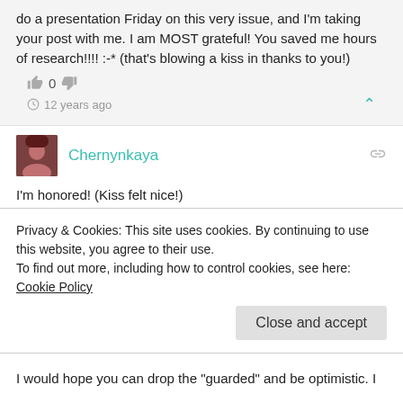do a presentation Friday on this very issue, and I'm taking your post with me. I am MOST grateful! You saved me hours of research!!!! :-* (that's blowing a kiss in thanks to you!)
0
12 years ago
Chernynkaya
I'm honored! (Kiss felt nice!)
0
Privacy & Cookies: This site uses cookies. By continuing to use this website, you agree to their use.
To find out more, including how to control cookies, see here: Cookie Policy
Close and accept
I would hope you can drop the "guarded" and be optimistic. I